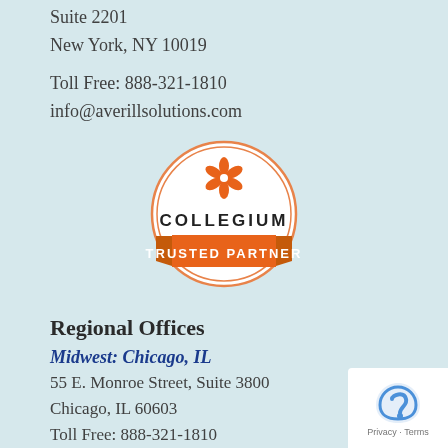Suite 2201
New York, NY 10019
Toll Free: 888-321-1810
info@averillsolutions.com
[Figure (logo): Collegium Trusted Partner badge — circular badge with orange flower icon, text COLLEGIUM, and orange banner reading TRUSTED PARTNER]
Regional Offices
Midwest: Chicago, IL
55 E. Monroe Street, Suite 3800
Chicago, IL 60603
Toll Free: 888-321-1810
West Coast: Los Angeles, CA
5670 Wilshire Blvd., Suite 1800